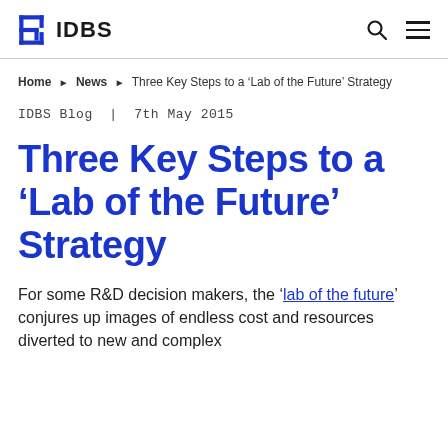IDBS
Home ▶ News ▶ Three Key Steps to a 'Lab of the Future' Strategy
IDBS Blog | 7th May 2015
Three Key Steps to a 'Lab of the Future' Strategy
For some R&D decision makers, the 'lab of the future' conjures up images of endless cost and resources diverted to new and complex